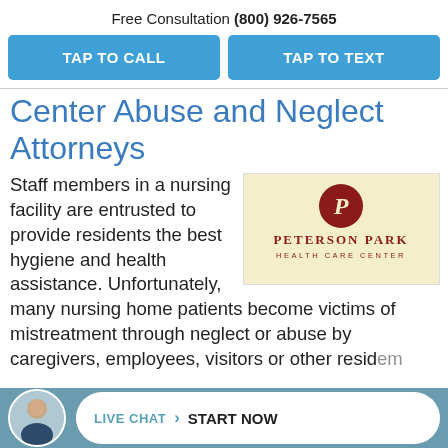Free Consultation (800) 926-7565
TAP TO CALL
TAP TO TEXT
Center Abuse and Neglect Attorneys
[Figure (logo): Peterson Park Health Care Center logo: red circular emblem with stylized 'P' above text reading PETERSON PARK HEALTH CARE CENTER on a cream/yellow background]
Staff members in a nursing facility are entrusted to provide residents the best hygiene and health assistance. Unfortunately, many nursing home patients become victims of mistreatment through neglect or abuse by caregivers, employees, visitors or other resid...
LIVE CHAT > START NOW